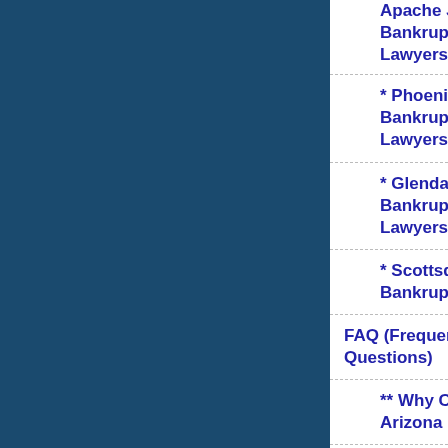Apache Junction Bankruptcy Lawyers
* Phoenix Bankruptcy Lawyers
* Glendale Bankruptcy Lawyers
* Scottsdale Bankruptcy Lawyer
FAQ (Frequently Asked Questions)
** Why Choose Our Arizona Law Firm
** Do I Need an Arizona Bankruptcy Lawyer?
If the
Wher
Wher
If yo
If yo
Our Gilb evaluation payment FREE, c offices.
Contact can also az.com/b Tagged a
Tagged as Lawyer, B Financial C Individuals